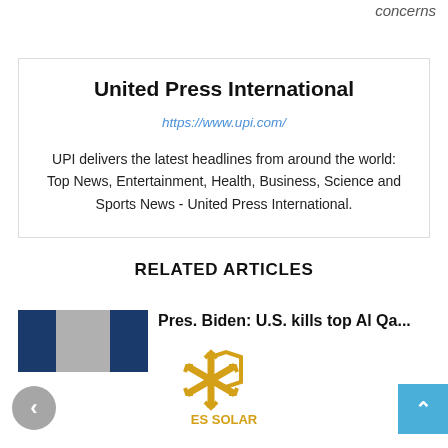concerns
United Press International
https://www.upi.com/
UPI delivers the latest headlines from around the world: Top News, Entertainment, Health, Business, Science and Sports News - United Press International.
RELATED ARTICLES
Pres. Biden: U.S. kills top Al Qa...
[Figure (logo): ES SOLAR logo with asterisk/snowflake sun symbol in gold/yellow]